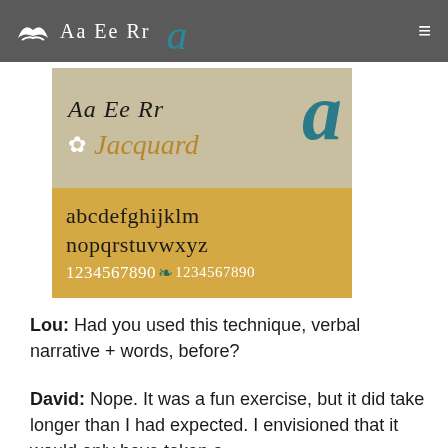Aa Ee Rr
[Figure (illustration): Font specimen showing 'Aa Ee Rr' in italic serif, a large teal italic 'a', a decorative snowflake ornament, 'Jacquard' in gold italic script, lowercase alphabet 'abcdefghijklm nopqrstuvwxyz', and numerals '1234567890' in white with a decorative teal ornament and smaller numerals '1234567890']
Lou: Had you used this technique, verbal narrative + words, before?
David: Nope. It was a fun exercise, but it did take longer than I had expected. I envisioned that it would only have taken a